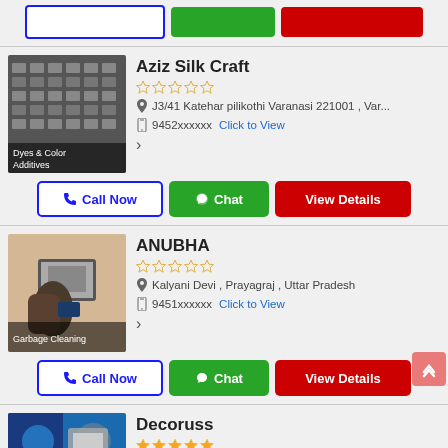[Figure (screenshot): Top action buttons: Call Now (outline), Chat (green), View Details (red)]
[Figure (photo): Aziz Silk Craft business image - black and white building facade, labeled 'Dyes & Color Additives']
Aziz Silk Craft
J3/41 Katehar pilikothi Varanasi 221001 , Var...
9452xxxxxx  Click to View
[Figure (screenshot): Action buttons: Call Now, Chat, View Details for Aziz Silk Craft]
[Figure (photo): ANUBHA listing image - person using laptop/phone, labeled 'Garbage Cleaning']
ANUBHA
Kalyani Devi , Prayagraj , Uttar Pradesh
9451xxxxxx  Click to View
[Figure (screenshot): Action buttons: Call Now, Chat, View Details for ANUBHA]
[Figure (photo): Decoruss listing thumbnail image]
Decoruss